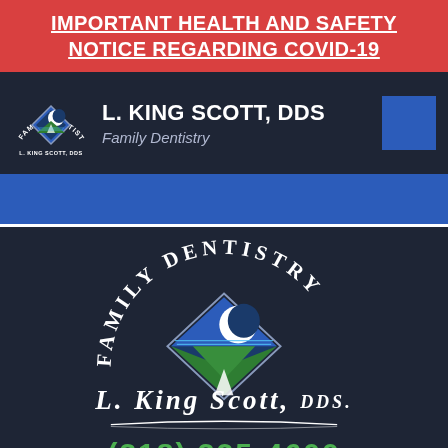IMPORTANT HEALTH AND SAFETY NOTICE REGARDING COVID-19
L. KING SCOTT, DDS
Family Dentistry
[Figure (logo): L. King Scott DDS Family Dentistry logo — diamond shape with moon and landscape scene, text arced 'FAMILY DENTISTRY' above and 'L. KING SCOTT, DDS.' below]
(318) 325-4600
Request | Call | Map